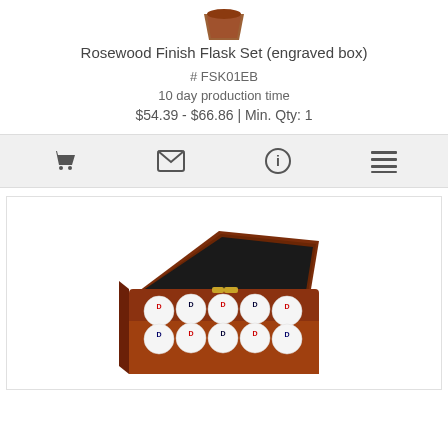[Figure (photo): Top portion of a rosewood finish flask set product image (partially cropped at top)]
Rosewood Finish Flask Set (engraved box)
# FSK01EB
10 day production time
$54.39 - $66.86 | Min. Qty: 1
[Figure (infographic): Icon bar with four icons: shopping cart, envelope, info (i), and list/menu icon]
[Figure (photo): Photo of an open rosewood finish box containing golf balls branded with a logo, arranged in two rows of five.]